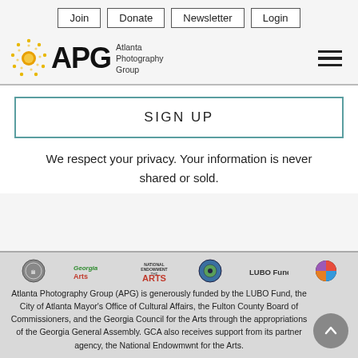Join | Donate | Newsletter | Login
[Figure (logo): Atlanta Photography Group (APG) logo with sun/dots icon and text 'APG Atlanta Photography Group']
SIGN UP
We respect your privacy. Your information is never shared or sold.
[Figure (logo): Row of sponsor logos: City of Atlanta seal, Georgia Arts, National Endowment for the Arts, Fulton County, LUBO Fund, colorful circular logo]
Atlanta Photography Group (APG) is generously funded by the LUBO Fund, the City of Atlanta Mayor's Office of Cultural Affairs, the Fulton County Board of Commissioners, and the Georgia Council for the Arts through the appropriations of the Georgia General Assembly. GCA also receives support from its partner agency, the National Endowmwnt for the Arts.